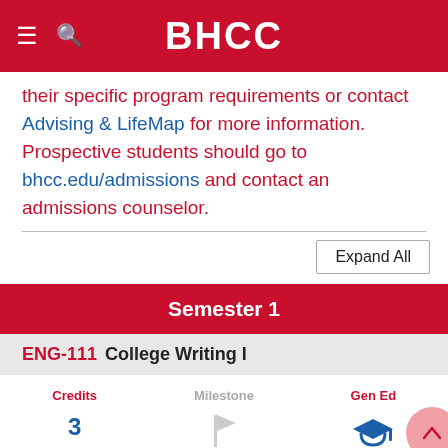BHCC
their specific program requirements or contact Advising & LifeMap for more information. Prospective students should go to bhcc.edu/admissions and contact an admissions counselor.
Semester 1
ENG-111 College Writing I
| Credits | Milestone | Gen Ed |
| --- | --- | --- |
| 3 | [flag icon] | [cap icon] |
Advising    Prerequisites